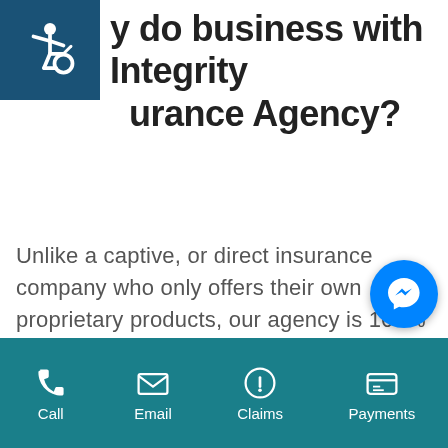[Figure (logo): Accessibility wheelchair icon in dark blue square]
Why do business with Integrity Insurance Agency?
Unlike a captive, or direct insurance company who only offers their own proprietary products, our agency is 100% independent of any one company. Many insurance consumers don't fully understand just how important that really is.
When it comes to something as important as insurance, it's imperative that you work with an
[Figure (illustration): Facebook Messenger chat bubble icon]
Call  Email  Claims  Payments